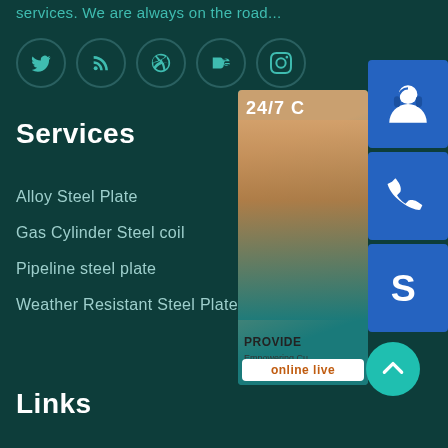services. We are always on the road...
[Figure (infographic): Social media icon row: Twitter, RSS, Dribbble, Behance, Instagram — teal circular outline icons on dark teal background]
Services
Alloy Steel Plate
Gas Cylinder Steel coil
Pipeline steel plate
Weather Resistant Steel Plate
Links
[Figure (infographic): Customer service panel on right: photo of woman with headset, '24/7' text, 'PROVIDE Empowering Cu...' text, 'online live' button, and three blue icon boxes (headset person, phone, Skype S icon), plus teal up-arrow circle button]